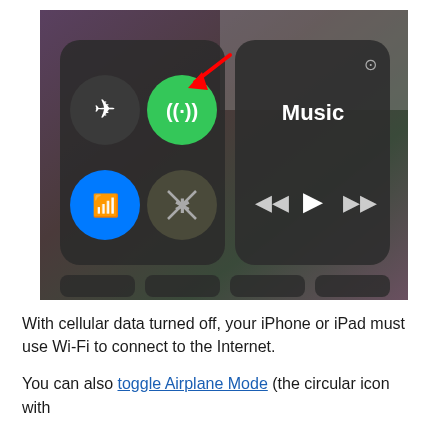[Figure (screenshot): iOS Control Center screenshot showing cellular data toggled on (green circle with signal icon), wifi (blue), bluetooth (crossed out), airplane mode, and a Music player panel. A red arrow points to the green cellular data button.]
With cellular data turned off, your iPhone or iPad must use Wi-Fi to connect to the Internet.
You can also toggle Airplane Mode (the circular icon with the airplane inside) to turn off all data from Control...